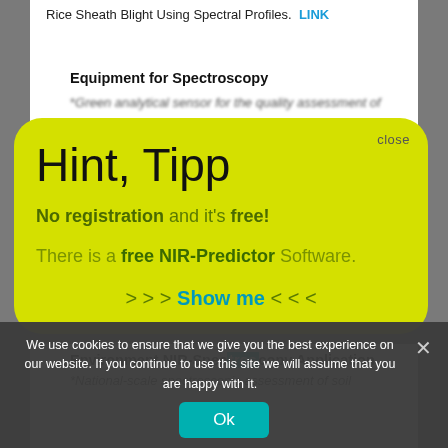Rice Sheath Blight Using Spectral Profiles. LINK
Equipment for Spectroscopy
*Green analytical sensor for the quality assessment of
Hint, Tipp
No registration and it's free!
There is a free NIR-Predictor Software.
>>> Show me <<<
We use cookies to ensure that we give you the best experience on our website. If you continue to use this site we will assume that you are happy with it.
Environment NIR-Spectroscopy Application
*National-scale spectroscopic assessment of soil